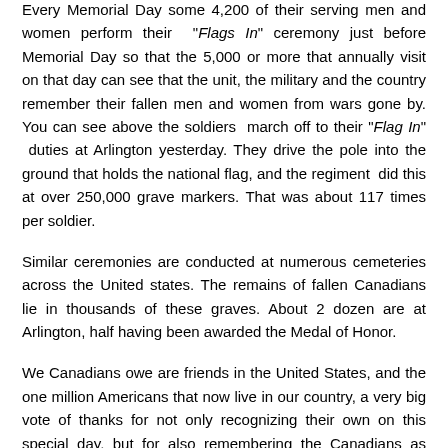Every Memorial Day some 4,200 of their serving men and women perform their "Flags In" ceremony just before Memorial Day so that the 5,000 or more that annually visit on that day can see that the unit, the military and the country remember their fallen men and women from wars gone by. You can see above the soldiers march off to their "Flag In" duties at Arlington yesterday. They drive the pole into the ground that holds the national flag, and the regiment did this at over 250,000 grave markers. That was about 117 times per soldier.
Similar ceremonies are conducted at numerous cemeteries across the United states. The remains of fallen Canadians lie in thousands of these graves. About 2 dozen are at Arlington, half having been awarded the Medal of Honor.
We Canadians owe are friends in the United States, and the one million Americans that now live in our country, a very big vote of thanks for not only recognizing their own on this special day, but for also remembering the Canadians as well. Pick up the phone, like I did already today, to thank an American you know who lives in Canada for the efforts their brothers and sisters are performing on this special day of remembrance.